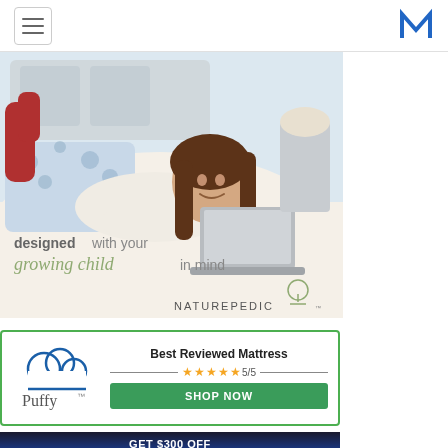Navigation header with hamburger menu and M logo
[Figure (photo): Naturepedic advertisement showing a young girl lying on a bed using a laptop, with text 'designed with your growing child in mind' and the Naturepedic logo]
[Figure (infographic): Puffy mattress advertisement with cloud/brand logo, 'Best Reviewed Mattress', 5/5 star rating, and green SHOP NOW button]
[Figure (infographic): Bottom advertisement banner with dark background, partially visible text 'GET $300 OFF']